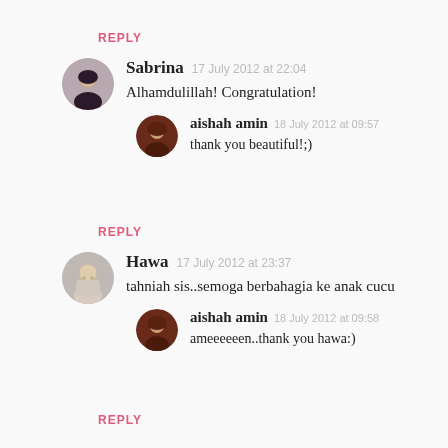REPLY
Sabrina  17 July 2012 at 22:04
Alhamdulillah! Congratulation!
  aishah amin  18 July 2012 at 09:57
  thank you beautiful!;)
REPLY
Hawa  17 July 2012 at 23:37
tahniah sis..semoga berbahagia ke anak cucu
  aishah amin  18 July 2012 at 09:58
  ameeeeeen..thank you hawa:)
REPLY